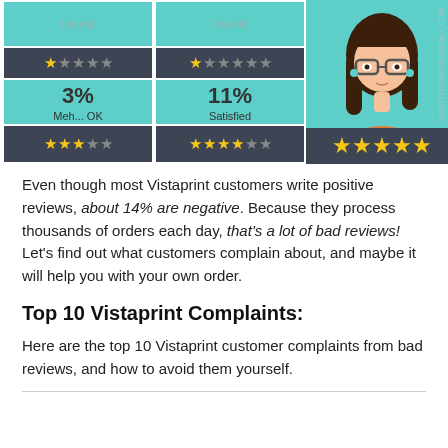[Figure (infographic): Infographic showing customer satisfaction ratings with star ratings and percentages. Two rating cards on the left (3% Meh... OK with 3-star rating, 11% Satisfied with 4-star rating). Right side shows illustrated character (woman with glasses and dark hair). Bottom row shows star ratings for each card.]
Even though most Vistaprint customers write positive reviews, about 14% are negative. Because they process thousands of orders each day, that's a lot of bad reviews! Let's find out what customers complain about, and maybe it will help you with your own order.
Top 10 Vistaprint Complaints:
Here are the top 10 Vistaprint customer complaints from bad reviews, and how to avoid them yourself.